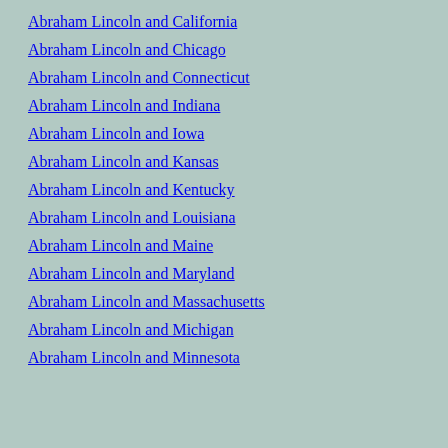Abraham Lincoln and California
Abraham Lincoln and Chicago
Abraham Lincoln and Connecticut
Abraham Lincoln and Indiana
Abraham Lincoln and Iowa
Abraham Lincoln and Kansas
Abraham Lincoln and Kentucky
Abraham Lincoln and Louisiana
Abraham Lincoln and Maine
Abraham Lincoln and Maryland
Abraham Lincoln and Massachusetts
Abraham Lincoln and Michigan
Abraham Lincoln and Minnesota